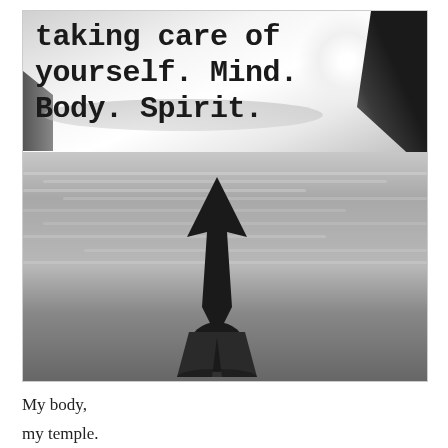[Figure (photo): Black and white photograph of a person (silhouette) doing yoga with arms raised on a beach. Ocean water surrounds them with misty coastal rocks and bright light/sun in the background. Text overlay in typewriter font reads: 'taking care of yourself. Mind. Body. Spirit.']
My body,
my temple.